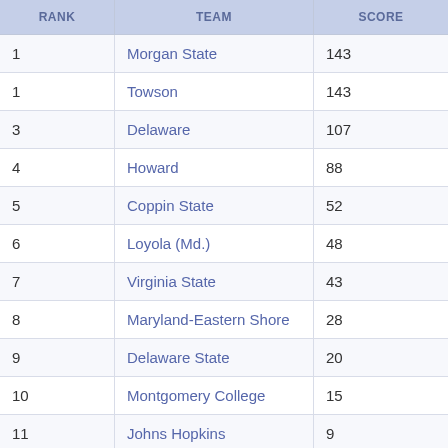| RANK | TEAM | SCORE |
| --- | --- | --- |
| 1 | Morgan State | 143 |
| 1 | Towson | 143 |
| 3 | Delaware | 107 |
| 4 | Howard | 88 |
| 5 | Coppin State | 52 |
| 6 | Loyola (Md.) | 48 |
| 7 | Virginia State | 43 |
| 8 | Maryland-Eastern Shore | 28 |
| 9 | Delaware State | 20 |
| 10 | Montgomery College | 15 |
| 11 | Johns Hopkins | 9 |
| 12 | George Washington | 8 |
| 13 | Wesley | 7 |